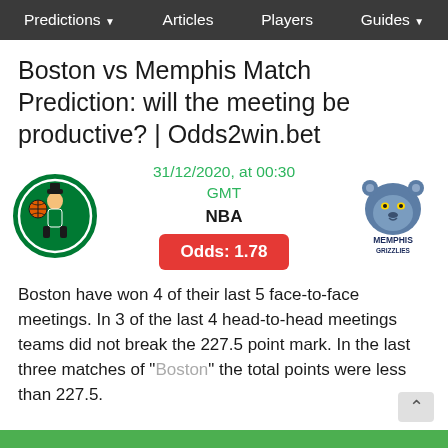Predictions | Articles | Players | Guides
Boston vs Memphis Match Prediction: will the meeting be productive? | Odds2win.bet
[Figure (logo): Boston Celtics team logo — green circular logo with leprechaun]
31/12/2020, at 00:30 GMT
NBA
Odds: 1.78
[Figure (logo): Memphis Grizzlies team logo — blue bear head with MEMPHIS GRIZZLIES text]
Boston have won 4 of their last 5 face-to-face meetings. In 3 of the last 4 head-to-head meetings teams did not break the 227.5 point mark. In the last three matches of "Boston" the total points were less than 227.5.